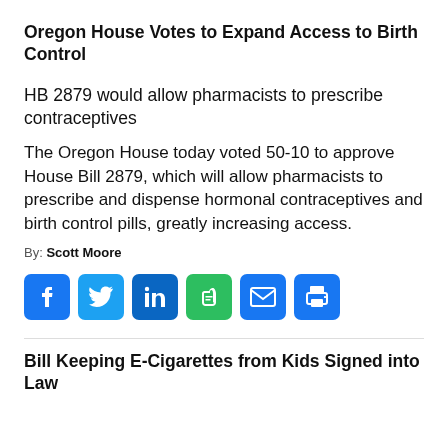Oregon House Votes to Expand Access to Birth Control
HB 2879 would allow pharmacists to prescribe contraceptives
The Oregon House today voted 50-10 to approve House Bill 2879, which will allow pharmacists to prescribe and dispense hormonal contraceptives and birth control pills, greatly increasing access.
By: Scott Moore
[Figure (infographic): Social sharing icons: Facebook (blue), Twitter (blue), LinkedIn (blue), Evernote (green), Email (blue), Print (blue)]
Bill Keeping E-Cigarettes from Kids Signed into Law